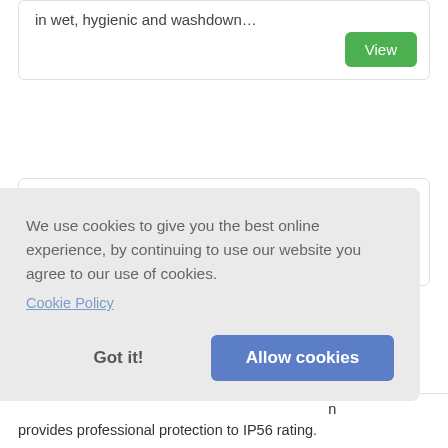in wet, hygienic and washdown…
View
[Figure (photo): Industrial touchscreen monitor/panel PC shown at an angle with black casing and blue screen]
We use cookies to give you the best online experience, by continuing to use our website you agree to our use of cookies.
Cookie Policy
Got it!
Allow cookies
provides professional protection to IP56 rating.